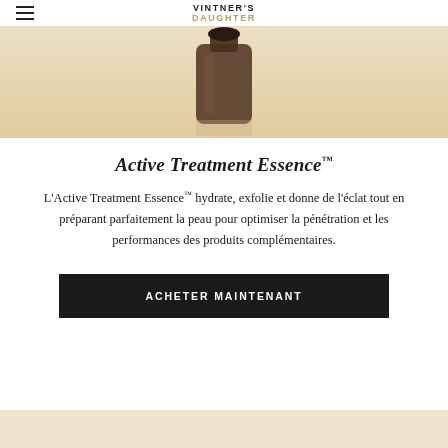VINTNER'S DAUGHTER
[Figure (photo): Product bottle of Active Treatment Essence on a warm beige/cream background, partially cropped at top]
Active Treatment Essence™
L'Active Treatment Essence™ hydrate, exfolie et donne de l'éclat tout en préparant parfaitement la peau pour optimiser la pénétration et les performances des produits complémentaires.
ACHETER MAINTENANT